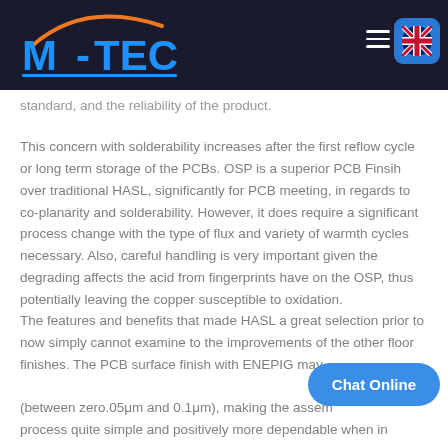M-TECH (logo navigation bar)
standard, and the reliability of the product.
This concern with solderability increases after the first reflow cycle or long term storage of the PCBs. OSP is a superior PCB Finsih over traditional HASL, significantly for PCB meeting, in regards to co-planarity and solderability. However, it does require a significant process change with the type of flux and variety of warmth cycles necessary. Also, careful handling is very important given the degrading affects the acid from fingerprints have on the OSP, thus potentially leaving the copper susceptible to oxidation.
The features and benefits that made HASL a great selection prior to now simply cannot examine to the improvements of the other floor finishes. The PCB surface finish with ENEPIG may (between zero.05μm and 0.1μm), making the assem process quite simple and positively more dependable when in